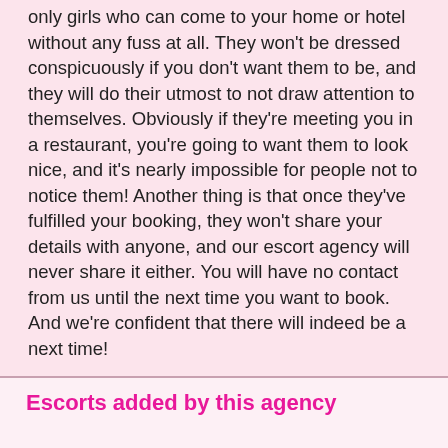only girls who can come to your home or hotel without any fuss at all. They won't be dressed conspicuously if you don't want them to be, and they will do their utmost to not draw attention to themselves. Obviously if they're meeting you in a restaurant, you're going to want them to look nice, and it's nearly impossible for people not to notice them! Another thing is that once they've fulfilled your booking, they won't share your details with anyone, and our escort agency will never share it either. You will have no contact from us until the next time you want to book. And we're confident that there will indeed be a next time!
Escorts added by this agency
[Figure (photo): Photo of a blonde woman indoors with warm lighting]
[Figure (photo): Photo of a dark-haired woman]